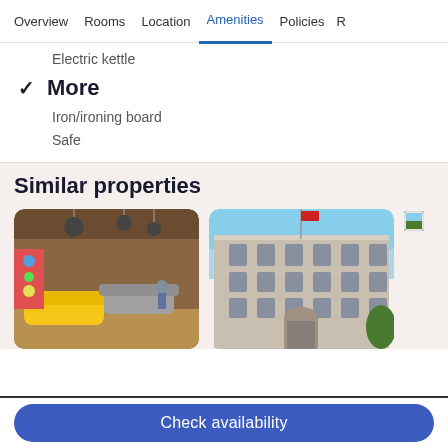Overview  Rooms  Location  Amenities  Policies  R
Electric kettle
✓  More
Iron/ironing board
Safe
Similar properties
[Figure (photo): Hotel lobby interior with yellow sofa and pendant lights]
[Figure (photo): Historic stone hotel building exterior under blue sky]
[Figure (photo): Partially visible third property card]
Check availability